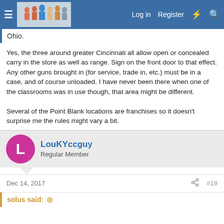Log in  Register  [lightning] [search]
Ohio.
Yes, the three around greater Cincinnati all allow open or concealed carry in the store as well as range. Sign on the front door to that effect. Any other guns brought in (for service, trade in, etc.) must be in a case, and of course unloaded. I have never been there when one of the classrooms was in use though, that area might be different.

Several of the Point Blank locations are franchises so it doesn't surprise me the rules might vary a bit.
LouKYccguy
Regular Member
Dec 14, 2017
#19
solus said: